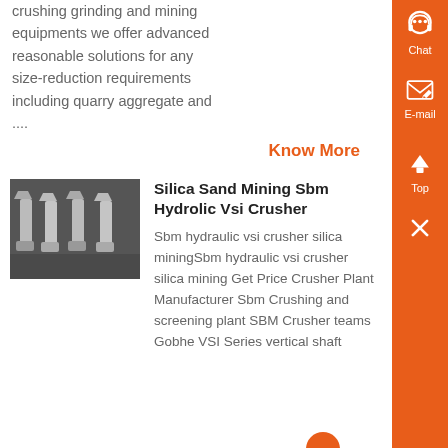crushing grinding and mining equipments we offer advanced reasonable solutions for any size-reduction requirements including quarry aggregate and ....
Know More
[Figure (photo): Photo of bolts and nuts arranged in a row on a dark background]
Silica Sand Mining Sbm Hydrolic Vsi Crusher
Sbm hydraulic vsi crusher silica miningSbm hydraulic vsi crusher silica mining Get Price Crusher Plant Manufacturer Sbm Crushing and screening plant SBM Crusher teams Gobhe VSI Series vertical shaft